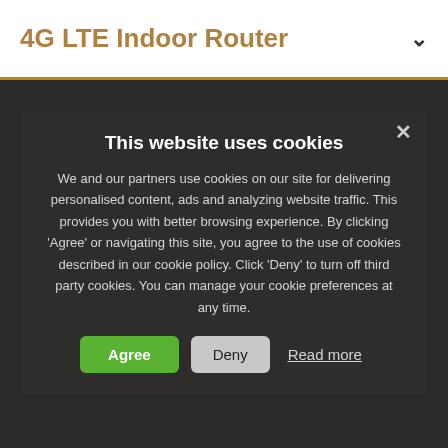4G LTE Indoor Router
This website uses cookies
We and our partners use cookies on our site for delivering personalised content, ads and analyzing website traffic. This provides you with better browsing experience. By clicking ‘Agree’ or navigating this site, you agree to the use of cookies described in our cookie policy. Click ‘Deny’ to turn off third party cookies. You can manage your cookie preferences at any time.
Agree | Deny | Read more